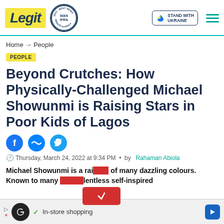Legit | WAN IFRA 2021 Best News Website in Africa | Stand with Ukraine
Home → People
PEOPLE
Beyond Crutches: How Physically-Challenged Michael Showunmi is Raising Stars in Poor Kids of Lagos
Thursday, March 24, 2022 at 9:34 PM • by Rahaman Abiola
Michael Showunmi is a rainbow of many dazzling colours. Known to many relentless self-inspired